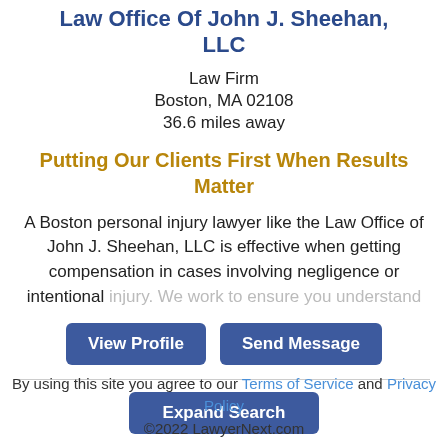Law Office Of John J. Sheehan, LLC
Law Firm
Boston, MA 02108
36.6 miles away
Putting Our Clients First When Results Matter
A Boston personal injury lawyer like the Law Office of John J. Sheehan, LLC is effective when getting compensation in cases involving negligence or intentional injury. We work to ensure you understand
View Profile   Send Message
Expand Search
By using this site you agree to our Terms of Service and Privacy Policy
©2022 LawyerNext.com